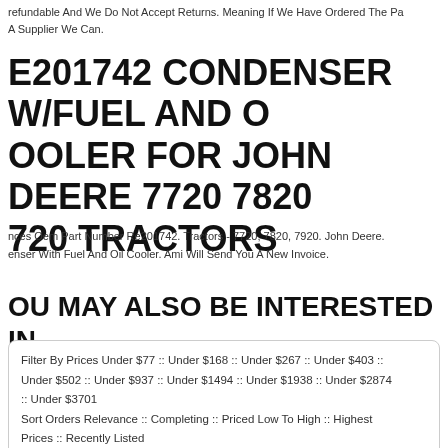refundable And We Do Not Accept Returns. Meaning If We Have Ordered The Pa A Supplier We Can.
E201742 CONDENSER W/FUEL AND O OOLER FOR JOHN DEERE 7720 7820 720 TRACTORS
nces Oem Part Number Re201742. Tractors - 7720, 7820, 7920. John Deere. enser With Fuel And Oil Cooler. Ami Will Send You A New Invoice.
OU MAY ALSO BE INTERESTED IN
Filter By Prices Under $77 :: Under $168 :: Under $267 :: Under $403 :: Under $502 :: Under $937 :: Under $1494 :: Under $1938 :: Under $2874 :: Under $3701
Sort Orders Relevance :: Completing :: Priced Low To High :: Highest Prices :: Recently Listed